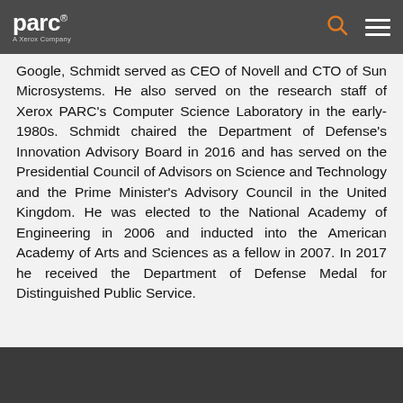parc — A Xerox Company
Google, Schmidt served as CEO of Novell and CTO of Sun Microsystems. He also served on the research staff of Xerox PARC's Computer Science Laboratory in the early-1980s. Schmidt chaired the Department of Defense's Innovation Advisory Board in 2016 and has served on the Presidential Council of Advisors on Science and Technology and the Prime Minister's Advisory Council in the United Kingdom. He was elected to the National Academy of Engineering in 2006 and inducted into the American Academy of Arts and Sciences as a fellow in 2007. In 2017 he received the Department of Defense Medal for Distinguished Public Service.